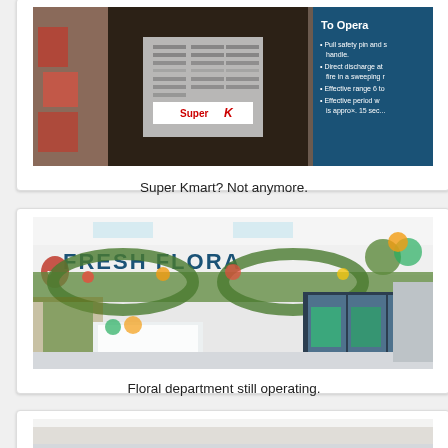[Figure (photo): Photo of a Super Kmart fire extinguisher/equipment with a Super K logo sticker, and a blue 'To Operate' instruction sign visible to the right]
Super Kmart? Not anymore.
[Figure (photo): Interior photo of a Fresh Floral department in a retail store, showing flower arrangements, refrigerated display cases, and a large 'FRESH FLORA' sign on the wall]
Floral department still operating.
[Figure (photo): Partial view of another interior retail store photo at the bottom of the page]